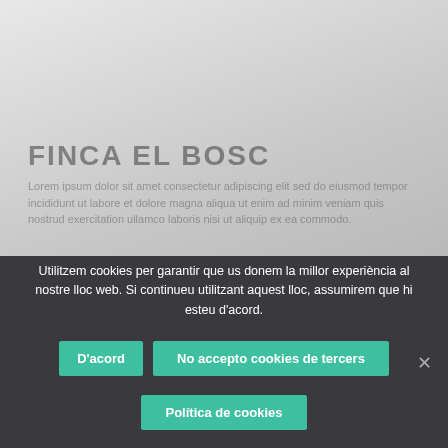[Figure (screenshot): Background website content showing faded text and title 'FINCA EL BOSC' with body text below, overlaid by a cookie consent banner at the bottom]
Utilitzem cookies per garantir que us donem la millor experiència al nostre lloc web. Si continueu utilitzant aquest lloc, assumirem que hi esteu d'acord.
D'acord
No accepto cookies de tercers
Política de cookies